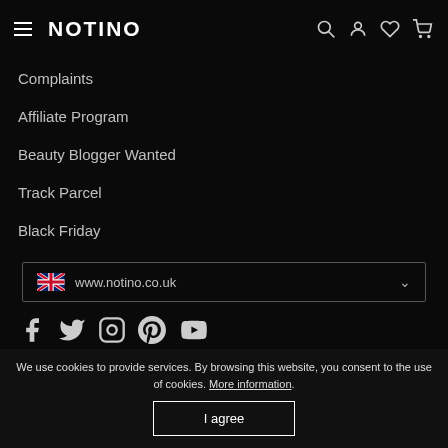NOTINO
Complaints
Affiliate Program
Beauty Blogger Wanted
Track Parcel
Black Friday
www.notino.co.uk
[Figure (infographic): Social media icons: Facebook, Twitter, Instagram, Pinterest, YouTube]
© 2022 NOTINO INTERNATIONAL LIMITED
We use cookies to provide services. By browsing this website, you consent to the use of cookies. More information.
I agree